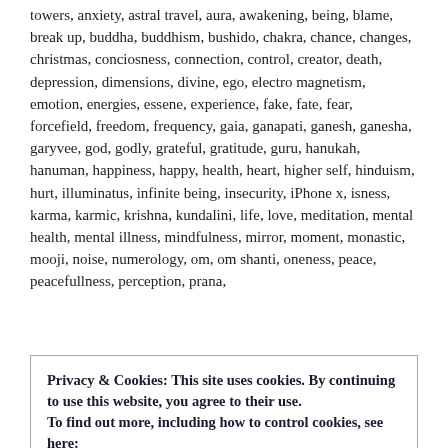towers, anxiety, astral travel, aura, awakening, being, blame, break up, buddha, buddhism, bushido, chakra, chance, changes, christmas, conciosness, connection, control, creator, death, depression, dimensions, divine, ego, electro magnetism, emotion, energies, essene, experience, fake, fate, fear, forcefield, freedom, frequency, gaia, ganapati, ganesh, ganesha, garyvee, god, godly, grateful, gratitude, guru, hanukah, hanuman, happiness, happy, health, heart, higher self, hinduism, hurt, illuminatus, infinite being, insecurity, iPhone x, isness, karma, karmic, krishna, kundalini, life, love, meditation, mental health, mental illness, mindfulness, mirror, moment, monastic, mooji, noise, numerology, om, om shanti, oneness, peace, peacefullness, perception, prana,
Privacy & Cookies: This site uses cookies. By continuing to use this website, you agree to their use.
To find out more, including how to control cookies, see here:
Cookie Policy
vishnu, wealth, winner, worry, yoga / 2 Comments